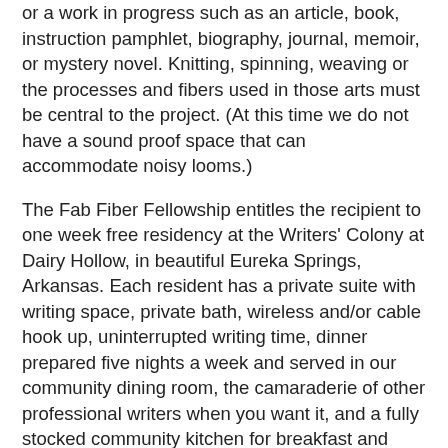or a work in progress such as an article, book, instruction pamphlet, biography, journal, memoir, or mystery novel. Knitting, spinning, weaving or the processes and fibers used in those arts must be central to the project. (At this time we do not have a sound proof space that can accommodate noisy looms.)
The Fab Fiber Fellowship entitles the recipient to one week free residency at the Writers' Colony at Dairy Hollow, in beautiful Eureka Springs, Arkansas. Each resident has a private suite with writing space, private bath, wireless and/or cable hook up, uninterrupted writing time, dinner prepared five nights a week and served in our community dining room, the camaraderie of other professional writers when you want it, and a fully stocked community kitchen for breakfast and lunch.
Recipients will be asked to donate their time for a two hour in-house event as part of our community outreach program. The format of the presentation is up to the Writers' Colony Fellow and can be a lecture, slide show, Q&A, reading, demonstration, gallery showing, etc.